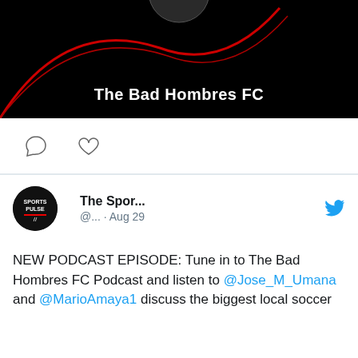[Figure (screenshot): Black background image card with 'The Bad Hombres FC' text in white bold font and a red curve/streak graphic]
[Figure (screenshot): Social action icons row: comment bubble icon and heart/like icon]
[Figure (screenshot): Tweet card from 'The Spor...' @... Aug 29 with Sports Pulse avatar logo and Twitter bird icon]
NEW PODCAST EPISODE: Tune in to The Bad Hombres FC Podcast and listen to @Jose_M_Umana and @MarioAmaya1 discuss the biggest local soccer
[Figure (screenshot): Advertisement banner: Victoria's Secret 'SHOP THE COLLECTION' with 'SHOP NOW' button on pink/red background with model photo]
[Figure (logo): Infolinks logo label in dark blue]